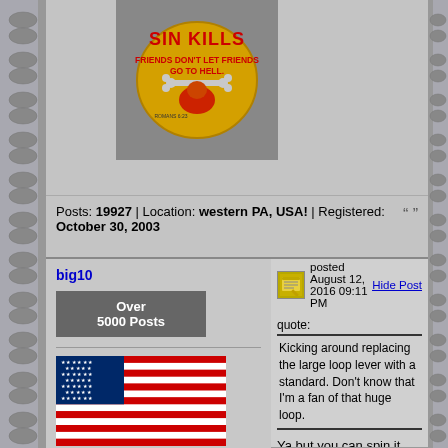[Figure (photo): Yellow circular badge/button with text 'SIN KILLS, FRIENDS DON'T LET FRIENDS GO TO HELL']
Posts: 19927 | Location: western PA, USA! | Registered: October 30, 2003
big10
Over 5000 Posts
posted August 12, 2016 09:11 PM
Hide Post
[Figure (illustration): American flag illustration]
quote:
Kicking around replacing the large loop lever with a standard. Don't know that I'm a fan of that huge loop.
Ya but you can spin it like Lucas McCain ;-)
👍 Rod
--------------------------------
It's not a break, it's a brake, unless it's a break, then it's broke ;-)